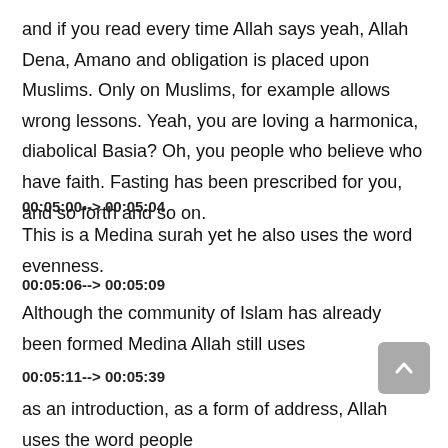and if you read every time Allah says yeah, Allah Dena, Amano and obligation is placed upon Muslims. Only on Muslims, for example allows wrong lessons. Yeah, you are loving a harmonica, diabolical Basia? Oh, you people who believe who have faith. Fasting has been prescribed for you, and so forth and so on.
00:05:00--> 00:05:04
This is a Medina surah yet he also uses the word evenness.
00:05:06--> 00:05:09
Although the community of Islam has already been formed Medina Allah still uses
00:05:11--> 00:05:39
as an introduction, as a form of address, Allah uses the word people